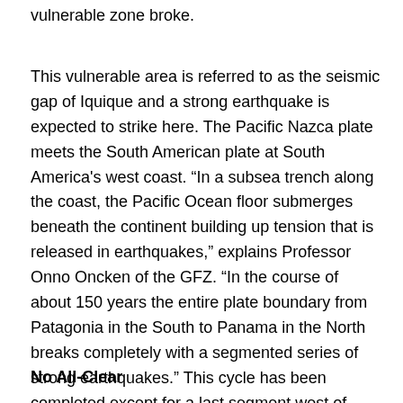vulnerable zone broke.
This vulnerable area is referred to as the seismic gap of Iquique and a strong earthquake is expected to strike here. The Pacific Nazca plate meets the South American plate at South America's west coast. “In a subsea trench along the coast, the Pacific Ocean floor submerges beneath the continent building up tension that is released in earthquakes,” explains Professor Onno Oncken of the GFZ. “In the course of about 150 years the entire plate boundary from Patagonia in the South to Panama in the North breaks completely with a segmented series of strong earthquakes.” This cycle has been completed except for a last segment west of Iquique in northern Chile. As expected, the strong earthquake of April 2 took place exactly at this seismic gap.
No All-Clear